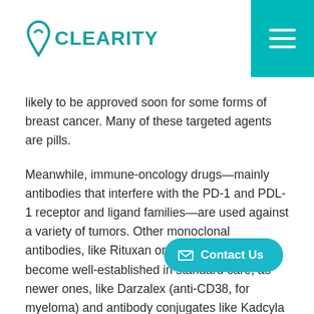Clearity
likely to be approved soon for some forms of breast cancer. Many of these targeted agents are pills.
Meanwhile, immune-oncology drugs—mainly antibodies that interfere with the PD-1 and PDL-1 receptor and ligand families—are used against a variety of tumors. Other monoclonal antibodies, like Rituxan or Herceptin, have become well-established in standard care, as newer ones, like Darzalex (anti-CD38, for myeloma) and antibody conjugates like Kadcyla or inotuzumab (recently approved, Besponsa), enter the anti-cancer armamentarium.* Consider, also, a recent paper on replacing bleomycin, a lung-